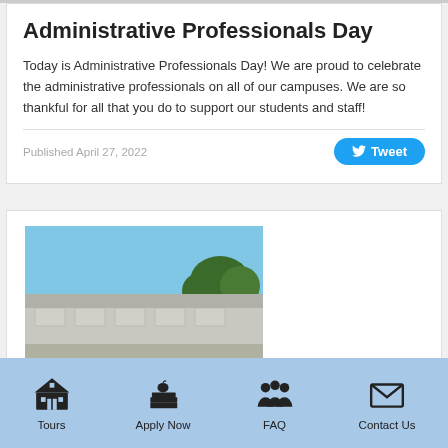Administrative Professionals Day
Today is Administrative Professionals Day! We are proud to celebrate the administrative professionals on all of our campuses. We are so thankful for all that you do to support our students and staff!
Published April 27, 2022
[Figure (photo): Exterior photo of a school building with blue sky and trees in background]
Tours | Apply Now | FAQ | Contact Us